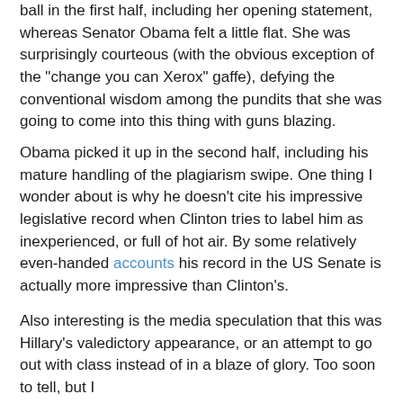ball in the first half, including her opening statement, whereas Senator Obama felt a little flat. She was surprisingly courteous (with the obvious exception of the "change you can Xerox" gaffe), defying the conventional wisdom among the pundits that she was going to come into this thing with guns blazing.
Obama picked it up in the second half, including his mature handling of the plagiarism swipe. One thing I wonder about is why he doesn't cite his impressive legislative record when Clinton tries to label him as inexperienced, or full of hot air. By some relatively even-handed accounts his record in the US Senate is actually more impressive than Clinton's.
Also interesting is the media speculation that this was Hillary's valedictory appearance, or an attempt to go out with class instead of in a blaze of glory. Too soon to tell, but I